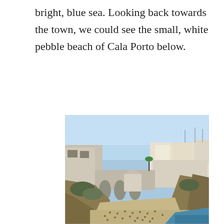bright, blue sea. Looking back towards the town, we could see the small, white pebble beach of Cala Porto below.
[Figure (photo): Aerial view of Cala Porto beach, a small pebble beach surrounded by rocky cliffs and white Mediterranean buildings, with people sunbathing and a clear blue sky above.]